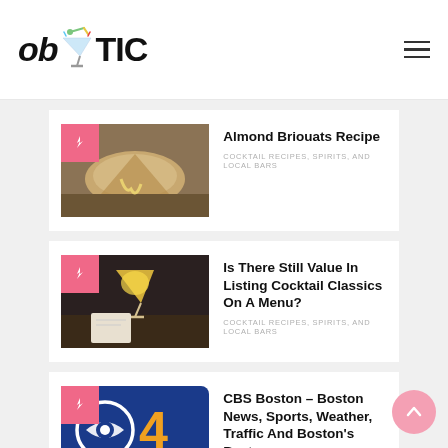ob TIC
[Figure (photo): Thumbnail of Almond Briouats pastry with pink badge overlay]
Almond Briouats Recipe
Cocktail Recipes, Spirits, And Local Bars
[Figure (photo): Thumbnail of cocktail glass on dark table with pink badge overlay]
Is There Still Value In Listing Cocktail Classics On A Menu?
Cocktail Recipes, Spirits, And Local Bars
[Figure (logo): CBS Boston WBZ Channel 4 logo blue background with gold number 4 and CBS eye]
CBS Boston – Boston News, Sports, Weather, Traffic And Boston's Best
Cocktail Recipes, Spirits, And Local Bars